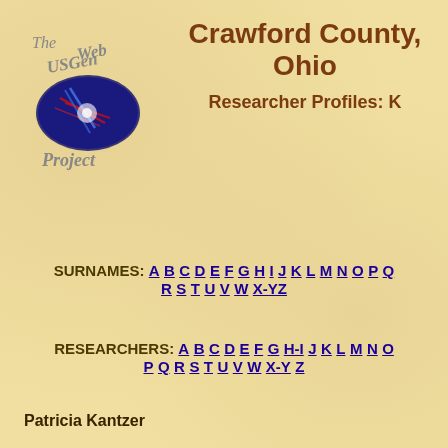[Figure (logo): USGenWeb Project logo with US map silhouette and text 'The USGenWeb Project']
Crawford County, Ohio
Researcher Profiles: K
SURNAMES: A B C D E F G H I J K L M N O P Q R S T U V W X-Y Z
RESEARCHERS: A B C D E F G H-I J K L M N O P Q R S T U V W X-Y Z
Patricia Kantzer